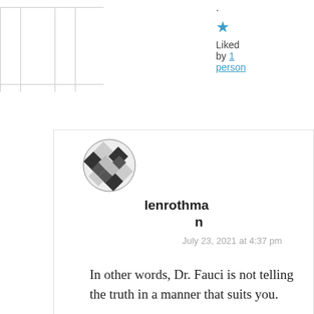Liked by 1 person
lenrothman
July 23, 2021 at 4:37 pm
In other words, Dr. Fauci is not telling the truth in a manner that suits you.
He has explained the mask confusion early on.
He has kept us apprised when new facts or theories emerge.
His “crime” is that he pissed off Trump by